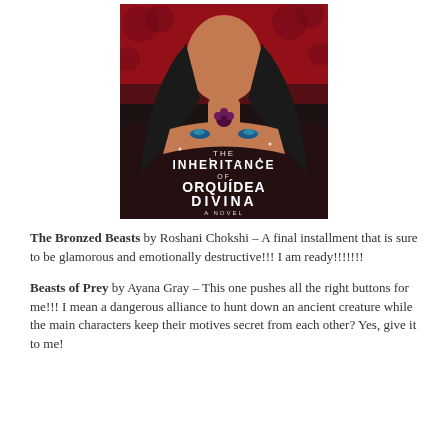[Figure (illustration): Book cover of 'The Inheritance of Orquídea Divina: A Novel' showing an illustrated woman with long dark hair, hummingbird tattoos, and a red floral background with title text in white.]
The Bronzed Beasts by Roshani Chokshi – A final installment that is sure to be glamorous and emotionally destructive!!! I am ready!!!!!!!
Beasts of Prey by Ayana Gray – This one pushes all the right buttons for me!!! I mean a dangerous alliance to hunt down an ancient creature while the main characters keep their motives secret from each other? Yes, give it to me!